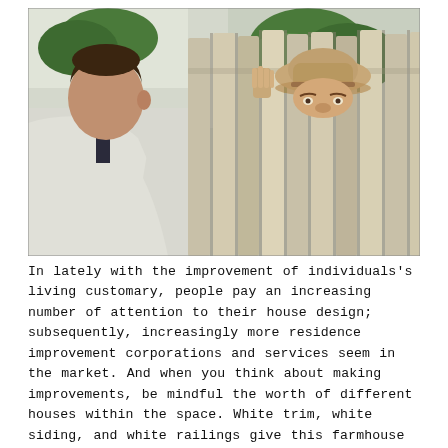[Figure (photo): A man (facing away from camera, wearing a white sweatshirt with dark hair) stands near a wooden fence, talking to an older man (wearing a tan bucket hat) who peers over the top of the fence, visible only from the eyes up. Green shrubs and a white building are visible in the background.]
In lately with the improvement of individuals's living customary, people pay an increasing number of attention to their house design; subsequently, increasingly more residence improvement corporations and services seem in the market. And when you think about making improvements, be mindful the worth of different houses within the space. White trim, white siding, and white railings give this farmhouse spick-and-span enchantment. The articles on this